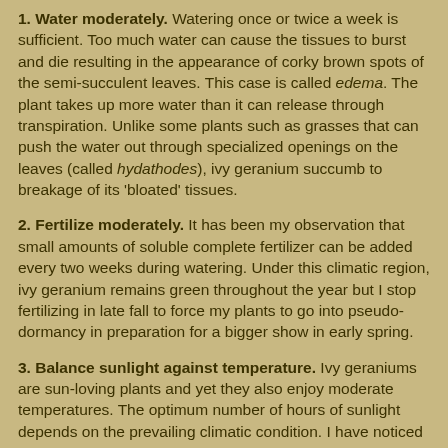1. Water moderately. Watering once or twice a week is sufficient. Too much water can cause the tissues to burst and die resulting in the appearance of corky brown spots of the semi-succulent leaves. This case is called edema. The plant takes up more water than it can release through transpiration. Unlike some plants such as grasses that can push the water out through specialized openings on the leaves (called hydathodes), ivy geranium succumb to breakage of its 'bloated' tissues.
2. Fertilize moderately. It has been my observation that small amounts of soluble complete fertilizer can be added every two weeks during watering. Under this climatic region, ivy geranium remains green throughout the year but I stop fertilizing in late fall to force my plants to go into pseudo-dormancy in preparation for a bigger show in early spring.
3. Balance sunlight against temperature. Ivy geraniums are sun-loving plants and yet they also enjoy moderate temperatures. The optimum number of hours of sunlight depends on the prevailing climatic condition. I have noticed